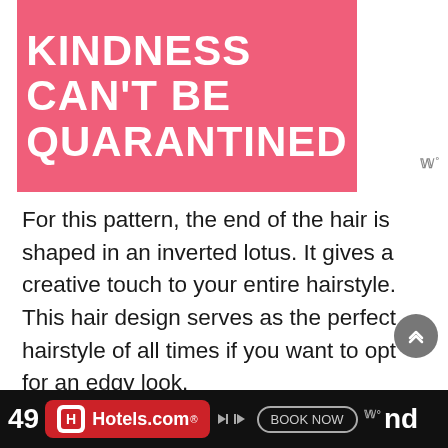[Figure (illustration): Pink card with white bold uppercase text reading 'KINDNESS CAN'T BE QUARANTINED' on a hot pink/coral background]
For this pattern, the end of the hair is shaped in an inverted lotus. It gives a creative touch to your entire hairstyle. This hair design serves as the perfect hairstyle of all times if you want to opt for an edgy look.
49 ... Hotels.com BOOK NOW ... Blond